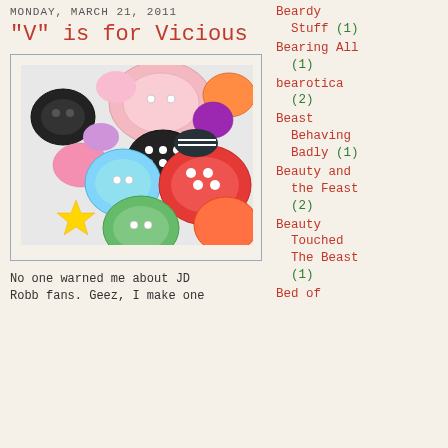MONDAY, MARCH 21, 2011
"V" is for Vicious
[Figure (photo): A colorful pile of assorted buttons in many shapes, colors and sizes including red, pink, green, blue, black, yellow, orange and purple.]
No one warned me about JD Robb fans. Geez, I make one
Beardy Stuff (1)
Bearing All (1)
bearotica (2)
Beast Behaving Badly (1)
Beauty and the Feast (2)
Beauty Touched The Beast (1)
Bed of